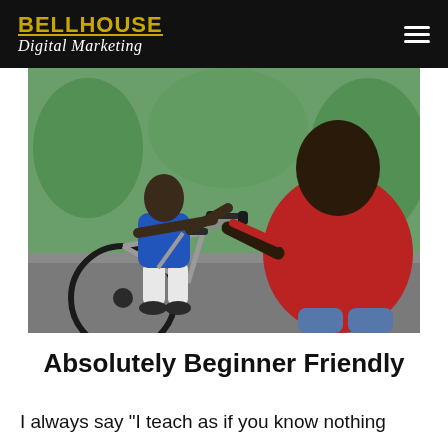BELLHOUSE Digital Marketing
[Figure (photo): An adult helping a young child learn to ride a bicycle on a street. The child is wearing a blue tank top and white shorts, and the adult is wearing a red t-shirt and jeans, holding the bike from behind.]
Absolutely Beginner Friendly
I always say "I teach as if you know nothing